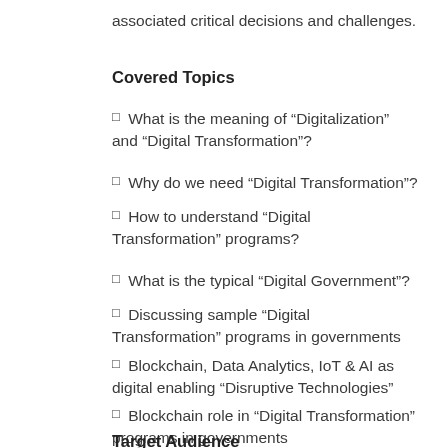associated critical decisions and challenges.
Covered Topics
What is the meaning of “Digitalization” and “Digital Transformation”?
Why do we need “Digital Transformation”?
How to understand “Digital Transformation” programs?
What is the typical “Digital Government”?
Discussing sample “Digital Transformation” programs in governments
Blockchain, Data Analytics, IoT & AI as digital enabling “Disruptive Technologies”
Blockchain role in “Digital Transformation” programs in governments
Target Audience